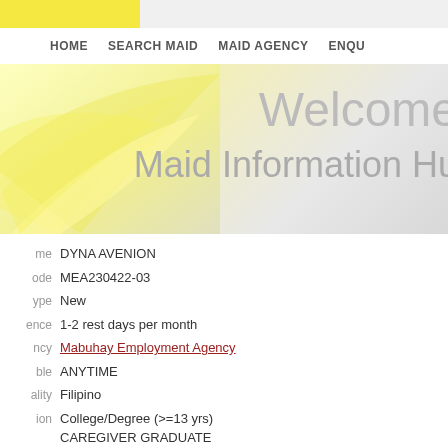HOME   SEARCH MAID   MAID AGENCY   ENQU
[Figure (illustration): Website hero banner with yellow swirl design and text 'Welcome' and 'Maid Information Hu']
Name: DYNA AVENION
Code: MEA230422-03
Type: New
ence: 1-2 rest days per month
ncy: Mabuhay Employment Agency
ble: ANYTIME
ality: Filipino
tion: College/Degree (>=13 yrs) CAREGIVER GRADUATE
Skill: English (Good, 5 yrs)
ude: Care for Infant/Children 5 yr
nce: Care for Elderly -
Care for Disabled -